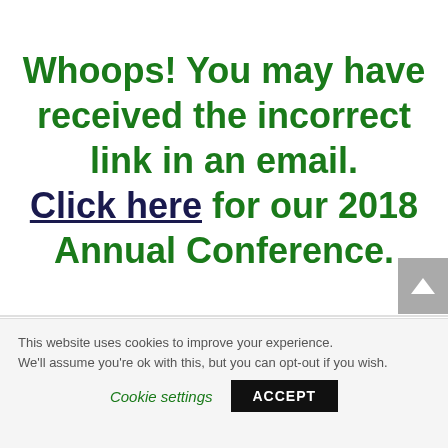Whoops! You may have received the incorrect link in an email. Click here for our 2018 Annual Conference.
This website uses cookies to improve your experience. We'll assume you're ok with this, but you can opt-out if you wish. Cookie settings ACCEPT